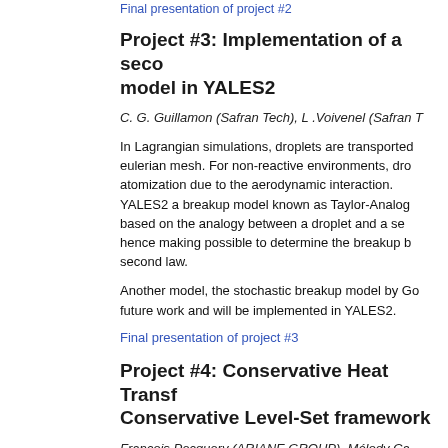Final presentation of project #2
Project #3: Implementation of a seco... model in YALES2
C. G. Guillamon (Safran Tech), L .Voivenel (Safran T...
In Lagrangian simulations, droplets are transported... eulerian mesh. For non-reactive environments, dro... atomization due to the aerodynamic interaction. ... YALES2 a breakup model known as Taylor-Analog... based on the analogy between a droplet and a se... hence making possible to determine the breakup b... second law.
Another model, the stochastic breakup model by Go... future work and will be implemented in YALES2.
Final presentation of project #3
Project #4: Conservative Heat Transf... Conservative Level-Set framework
François Pecquery (ARIANE GROUP), Mélody Ca... Janodet (SAFRAN TECH/CORIA) and Vincent Mou...
Objectives of the project was to introduce cons...